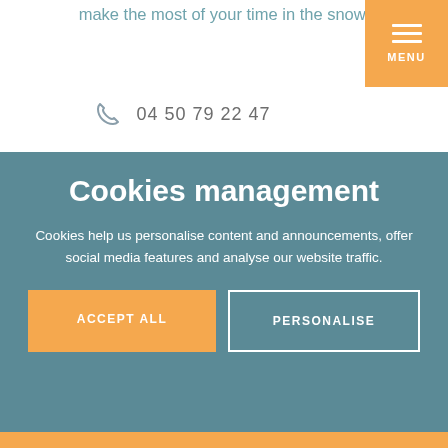make the most of your time in the snow.
[Figure (other): Orange menu button with hamburger icon lines and MENU label]
04 50 79 22 47
Cookies management
Cookies help us personalise content and announcements, offer social media features and analyse our website traffic.
ACCEPT ALL
PERSONALISE